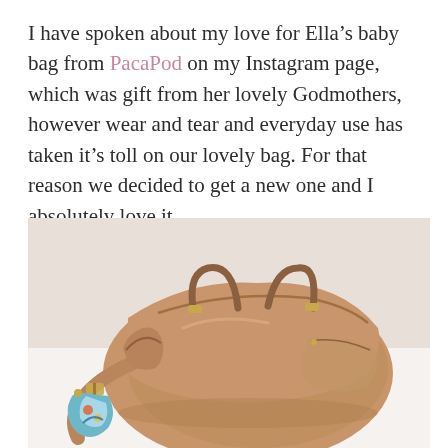I have spoken about my love for Ella's baby bag from PacaPod on my Instagram page, which was gift from her lovely Godmothers, however wear and tear and everyday use has taken it's toll on our lovely bag. For that reason we decided to get a new one and I absolutely love it.
[Figure (photo): A tan/camel-colored leather baby bag (PacaPod brand) photographed on a white surface, showing the bag's handles, shoulder strap with adjustable hardware, zipper details, and a colorful accessory pouch hanging from the side.]